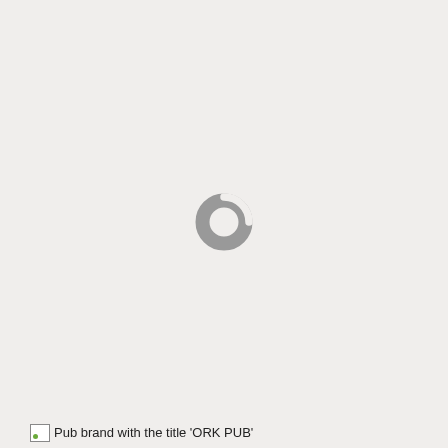[Figure (other): Loading spinner icon — a grey letter C shape indicating a loading/spinner state, centered on a light grey background]
Pub brand with the title 'ORK PUB'